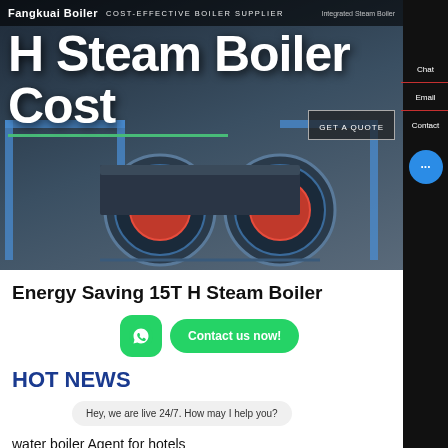Fangkuai Boiler | COST-EFFECTIVE BOILER SUPPLIER
H Steam Boiler Cost
[Figure (screenshot): Hero image showing industrial steam boilers with blue circular burners against a dark background]
Energy Saving 15T H Steam Boiler
[Figure (other): WhatsApp contact button (green circle with phone icon) and green Contact us now! button]
HOT NEWS
Hey, we are live 24/7. How may I help you?
water boiler Agent for hotels